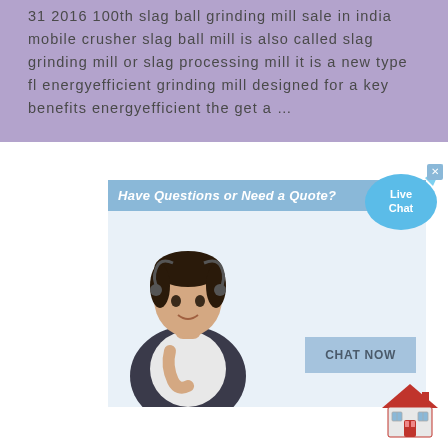31 2016 100th slag ball grinding mill sale in india mobile crusher slag ball mill is also called slag grinding mill or slag processing mill it is a new type fl energyefficient grinding mill designed for a key benefits energyefficient the get a …
[Figure (screenshot): Live chat widget popup with header 'Have Questions or Need a Quote?', a customer service representative image, and a 'CHAT NOW' button. A 'Live Chat' speech bubble appears to the upper right.]
[Figure (illustration): Small house/home icon in the bottom right corner of the page.]